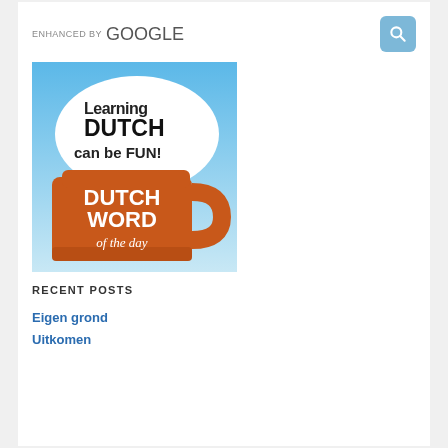[Figure (logo): ENHANCED BY Google search bar with blue search button]
[Figure (illustration): Dutch Word of the Day logo: orange beer mug with speech bubble saying 'Learning DUTCH can be FUN!' and text on mug 'DUTCH WORD of the day' on blue gradient background]
RECENT POSTS
Eigen grond
Uitkomen